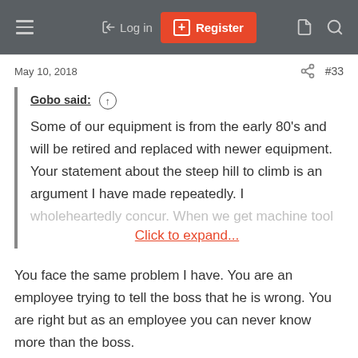Log in | Register
May 10, 2018   #33
Gobo said: ↑
Some of our equipment is from the early 80's and will be retired and replaced with newer equipment. Your statement about the steep hill to climb is an argument I have made repeatedly. I wholeheartedly concur. When we get machine tool
Click to expand...
You face the same problem I have. You are an employee trying to tell the boss that he is wrong. You are right but as an employee you can never know more than the boss.